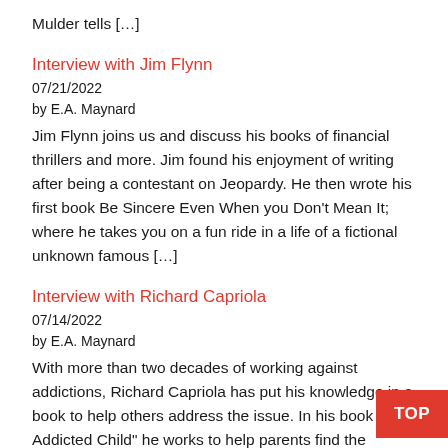Mulder tells […]
Interview with Jim Flynn
07/21/2022
by E.A. Maynard
Jim Flynn joins us and discuss his books of financial thrillers and more. Jim found his enjoyment of writing after being a contestant on Jeopardy. He then wrote his first book Be Sincere Even When you Don't Mean It; where he takes you on a fun ride in a life of a fictional unknown famous […]
Interview with Richard Capriola
07/14/2022
by E.A. Maynard
With more than two decades of working against addictions, Richard Capriola has put his knowledge in a book to help others address the issue. In his book "The Addicted Child" he works to help parents find the information that a concerning parent needs. Richard